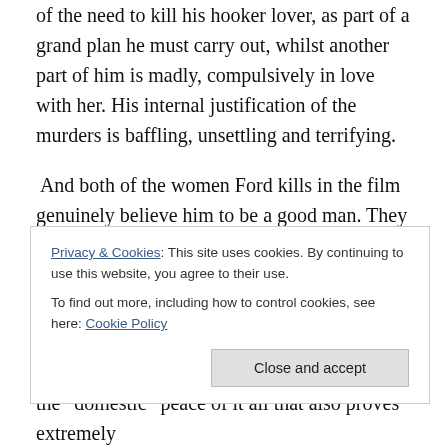of the need to kill his hooker lover, as part of a grand plan he must carry out, whilst another part of him is madly, compulsively in love with her. His internal justification of the murders is baffling, unsettling and terrifying.
And both of the women Ford kills in the film genuinely believe him to be a good man. They are surprised by his outbursts of punches and in disbelief they do not turn against him. In fact with their dying breaths they wish to understand, to help him. As the viewer you wonder how they did not see the signs, the hints of violence beneath the seemingly kind law enforcer expressed in code
Privacy & Cookies: This site uses cookies. By continuing to use this website, you agree to their use.
To find out more, including how to control cookies, see here: Cookie Policy
the “domestic” peace of it all that also proves extremely